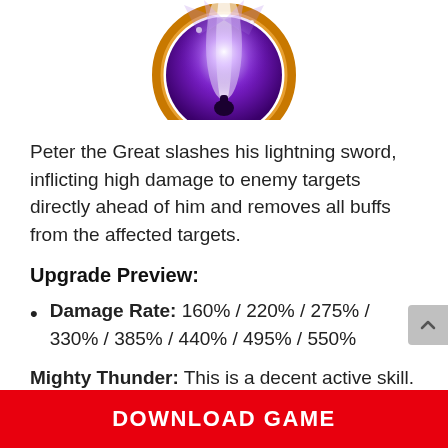[Figure (illustration): Game character skill icon — circular badge with purple/violet lightning effect inside, orange border ring, partially cropped at top]
Peter the Great slashes his lightning sword, inflicting high damage to enemy targets directly ahead of him and removes all buffs from the affected targets.
Upgrade Preview:
Damage Rate: 160% / 220% / 275% / 330% / 385% / 440% / 495% / 550%
Mighty Thunder: This is a decent active skill. It does high
DOWNLOAD GAME